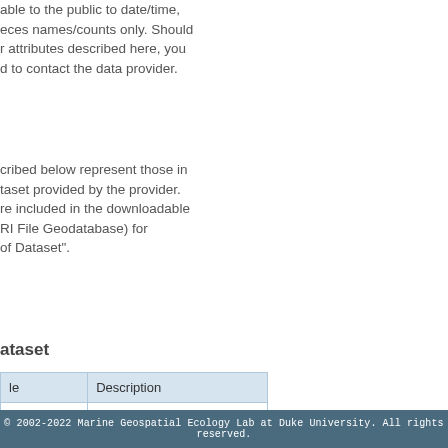able to the public to date/time, eces names/counts only. Should r attributes described here, you d to contact the data provider.
cribed below represent those in taset provided by the provider. re included in the downloadable RI File Geodatabase) for of Dataset".
ataset
| le | Description |
| --- | --- |
|  | Unique ID number (generated by OBIS-SEAMAP) |
|  | Location name |
|  | Survey name |
| ne | Date of the sighting |
|  | definition not provided |
© 2002-2022 Marine Geospatial Ecology Lab at Duke University. All rights reserved.